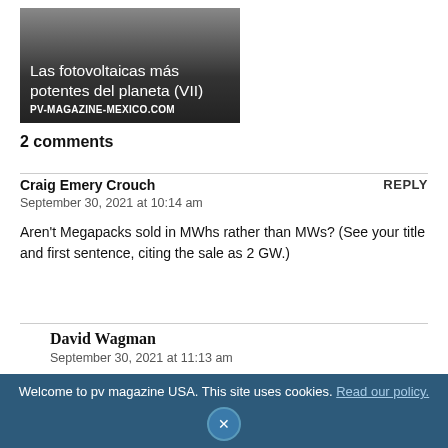[Figure (screenshot): Thumbnail image for article 'Las fotovoltaicas más potentes del planeta (VII)' from PV-MAGAZINE-MEXICO.COM, dark gradient background with white text.]
2 comments
Craig Emery Crouch
September 30, 2021 at 10:14 am

Aren't Megapacks sold in MWhs rather than MWs? (See your title and first sentence, citing the sale as 2 GW.)
David Wagman
September 30, 2021 at 11:13 am

The story has been updated to reflect the GWh figure that
Welcome to pv magazine USA. This site uses cookies. Read our policy.